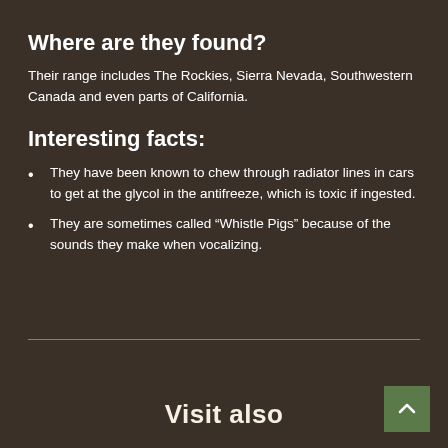Where are they found?
Their range includes The Rockies, Sierra Nevada, Southwestern Canada and even parts of California.
Interesting facts:
They have been known to chew through radiator lines in cars to get at the glycol in the antifreeze,  which is toxic if ingested.
They are sometimes called “Whistle Pigs” because of the sounds they make when vocalizing.
Visit also